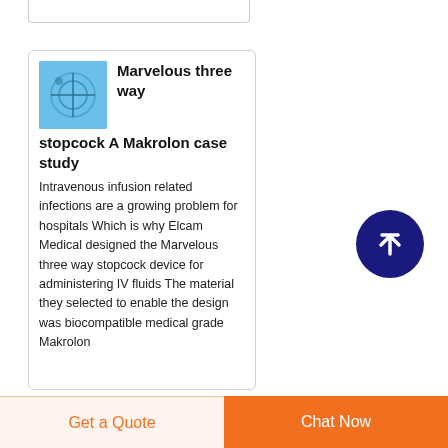[Figure (photo): Partial top card placeholder at top of page]
[Figure (photo): Blue thumbnail image of a three-way stopcock medical device]
Marvelous three way stopcock A Makrolon case study
Intravenous infusion related infections are a growing problem for hospitals Which is why Elcam Medical designed the Marvelous three way stopcock device for administering IV fluids The material they selected to enable the design was biocompatible medical grade Makrolon
[Figure (other): Dark blue circular scroll-to-top button with white upward arrow]
Get a Quote    Chat Now